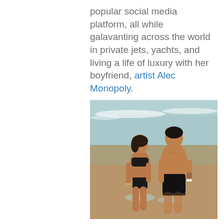popular social media platform, all while galavanting across the world in private jets, yachts, and living a life of luxury with her boyfriend, artist Alec Monopoly.
[Figure (photo): A couple walking out of the ocean on a beach. A woman in a black bikini and a shirtless man in black swim shorts are holding hands and walking through the shallow water.]